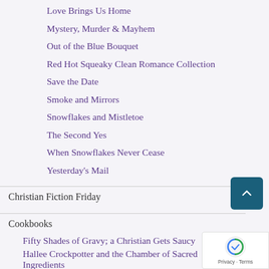Love Brings Us Home
Mystery, Murder & Mayhem
Out of the Blue Bouquet
Red Hot Squeaky Clean Romance Collection
Save the Date
Smoke and Mirrors
Snowflakes and Mistletoe
The Second Yes
When Snowflakes Never Cease
Yesterday's Mail
Christian Fiction Friday
Cookbooks
Fifty Shades of Gravy; a Christian Gets Saucy
Hallee Crockpotter and the Chamber of Sacred Ingredients